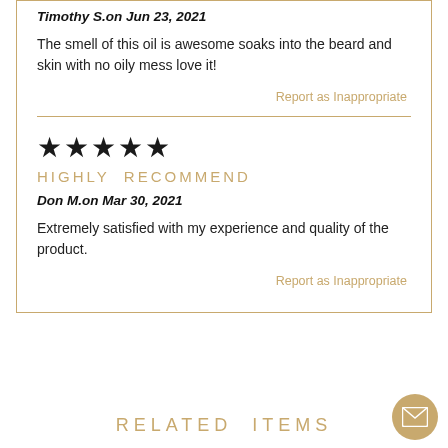Timothy S. on Jun 23, 2021
The smell of this oil is awesome soaks into the beard and skin with no oily mess love it!
Report as Inappropriate
[Figure (other): Five black star rating icons]
HIGHLY RECOMMEND
Don M. on Mar 30, 2021
Extremely satisfied with my experience and quality of the product.
Report as Inappropriate
RELATED ITEMS